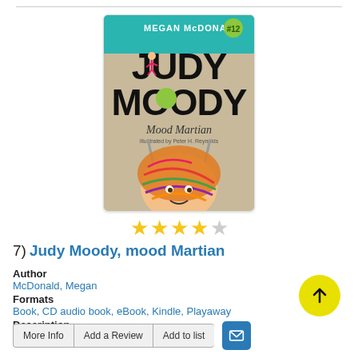[Figure (illustration): Book cover of 'Judy Moody, Mood Martian' by Megan McDonald, illustrated by Peter H. Reynolds. Teal header with author name and number 12 badge. Large colorful title text 'Judy Moody' with 'Mood Martian' below. Character with orange hair wrapped in colorful yarn.]
[Figure (other): 4 out of 5 star rating displayed as yellow stars with one empty star]
7)  Judy Moody, mood Martian
Author
McDonald, Megan
Formats
Book, CD audio book, eBook, Kindle, Playaway
Description
Read Description